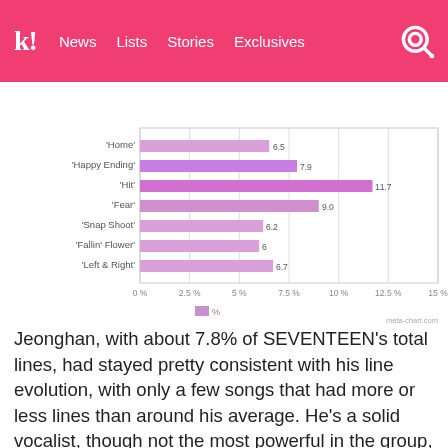k! News  Lists  Stories  Exclusives
BTS  BLACKPINK  TWICE  aespa  NCT  IVE  ITZY
[Figure (bar-chart): % of lines per song]
Jeonghan, with about 7.8% of SEVENTEEN's total lines, had stayed pretty consistent with his line evolution, with only a few songs that had more or less lines than around his average. He's a solid vocalist, though not the most powerful in the group, so this trend makes sense. He definitely deserves to be heard!